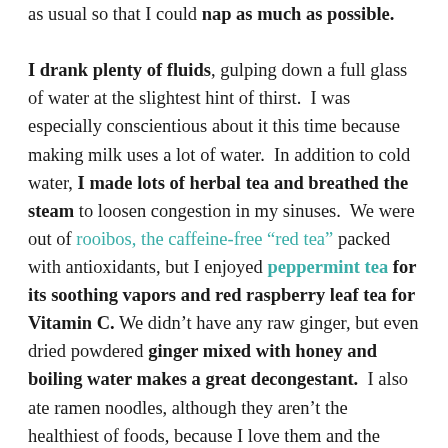as usual so that I could nap as much as possible. I drank plenty of fluids, gulping down a full glass of water at the slightest hint of thirst. I was especially conscientious about it this time because making milk uses a lot of water. In addition to cold water, I made lots of herbal tea and breathed the steam to loosen congestion in my sinuses. We were out of rooibos, the caffeine-free “red tea” packed with antioxidants, but I enjoyed peppermint tea for its soothing vapors and red raspberry leaf tea for Vitamin C. We didn’t have any raw ginger, but even dried powdered ginger mixed with honey and boiling water makes a great decongestant. I also ate ramen noodles, although they aren’t the healthiest of foods, because I love them and the salty broth makes me drink lots of water as well as containing water